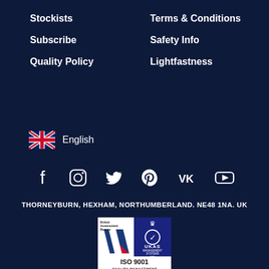Stockists
Terms & Conditions
Subscribe
Safety Info
Quality Policy
Lightfastness
English
[Figure (infographic): Social media icons: Facebook, Instagram, Twitter, Pinterest, VK, YouTube]
THORNEYBURN, HEXHAM, NORTHUMBERLAND. NE48 1NA. UK
[Figure (logo): British Assessment Bureau ISO 9001 Quality Management UKAS certification badge]